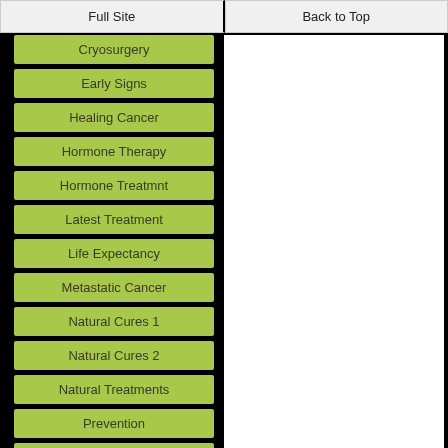Full Site | Back to Top
Cryosurgery
Early Signs
Healing Cancer
Hormone Therapy
Hormone Treatmnt
Latest Treatment
Life Expectancy
Metastatic Cancer
Natural Cures 1
Natural Cures 2
Natural Treatments
Prevention
Prostate Cancer
Prostate Movie